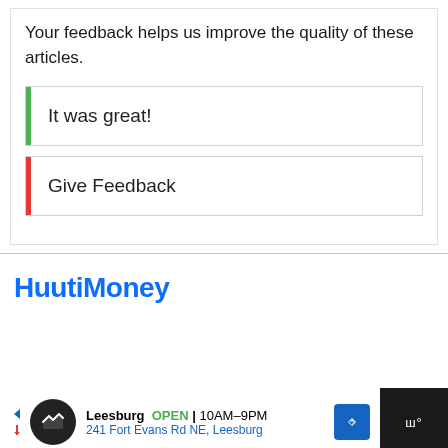Your feedback helps us improve the quality of these articles.
It was great!
Give Feedback
HuutiMoney
[Figure (other): Advertisement banner: Leesburg store, OPEN 10AM-9PM, 241 Fort Evans Rd NE, Leesburg]